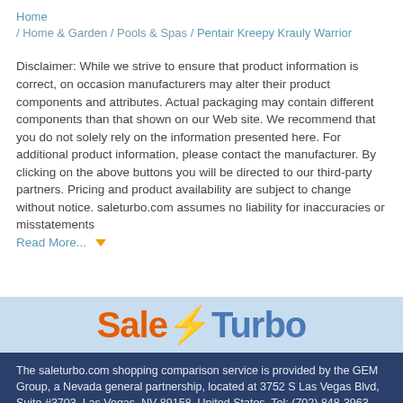Home / Home & Garden / Pools & Spas / Pentair Kreepy Krauly Warrior
Disclaimer: While we strive to ensure that product information is correct, on occasion manufacturers may alter their product components and attributes. Actual packaging may contain different components than that shown on our Web site. We recommend that you do not solely rely on the information presented here. For additional product information, please contact the manufacturer. By clicking on the above buttons you will be directed to our third-party partners. Pricing and product availability are subject to change without notice. saleturbo.com assumes no liability for inaccuracies or misstatements
Read More...
[Figure (logo): SaleTurbo logo with orange 'Sale', yellow lightning bolt, and blue 'Turbo' text on light blue background]
The saleturbo.com shopping comparison service is provided by the GEM Group, a Nevada general partnership, located at 3752 S Las Vegas Blvd, Suite #3703, Las Vegas, NV 89158, United States, Tel: (702) 848-3963. The GEM Group provides a comparison service free of charge but may benefit financially from the partners it may direct you to.